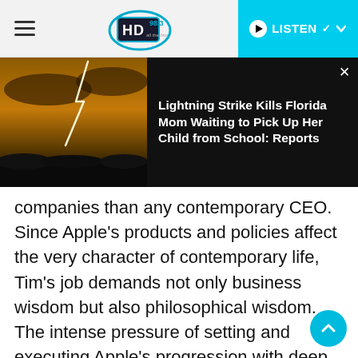HD 98.3 | LISTEN
[Figure (screenshot): News banner with lightning strike photo on left and headline 'Lightning Strike Kills Florida Mom Waiting to Pick Up Her Child from School: Reports' on right, dark background]
companies than any contemporary CEO. Since Apple's products and policies affect the very character of contemporary life, Tim's job demands not only business wisdom but also philosophical wisdom. The intense pressure of setting and executing Apple's progression with deep precision, and of taking responsibility for the company's effects on society, is almost unimaginable. Yet Tim does it